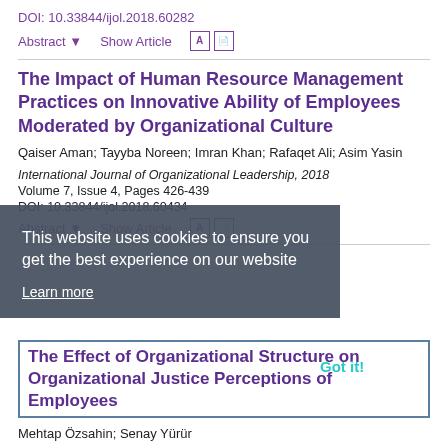DOI: 10.33844/ijol.2018.60282
Abstract ▾   Show Article
The Impact of Human Resource Management Practices on Innovative Ability of Employees Moderated by Organizational Culture
Qaiser Aman; Tayyba Noreen; Imran Khan; Rafaqet Ali; Asim Yasin
International Journal of Organizational Leadership, 2018
Volume 7, Issue 4, Pages 426-439
DOI: 10.33844/ijol.2018.60434
Abstract ▾   Show Article
This website uses cookies to ensure you get the best experience on our website
Learn more
Got it!
The Effect of Organizational Structure on Organizational Justice Perceptions of Employees
Mehtap Özsahin; Senay Yürür